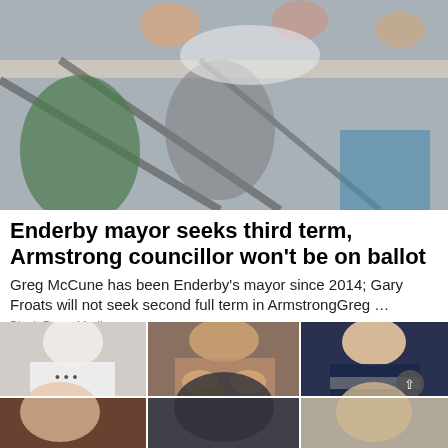[Figure (photo): People seated at a table, viewed from the side, with metal railing visible in the foreground]
Enderby mayor seeks third term, Armstrong councillor won't be on ballot
Greg McCune has been Enderby's mayor since 2014; Gary Froats will not seek second full term in ArmstrongGreg …
Black Press Media
[Figure (photo): A 3x2 grid of portrait photos of various people]